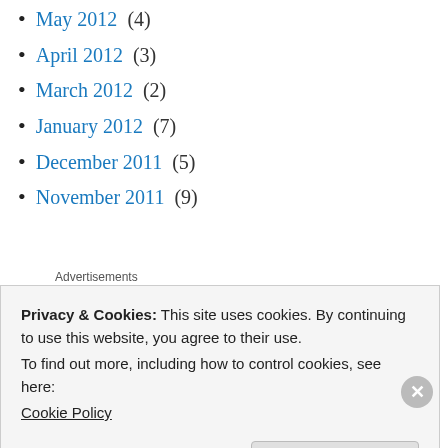May 2012 (4)
April 2012 (3)
March 2012 (2)
January 2012 (7)
December 2011 (5)
November 2011 (9)
[Figure (logo): Longreads advertisement banner — black background with red circle containing 'L' and white text 'LONGREADS']
Privacy & Cookies: This site uses cookies. By continuing to use this website, you agree to their use.
To find out more, including how to control cookies, see here:
Cookie Policy
Close and accept